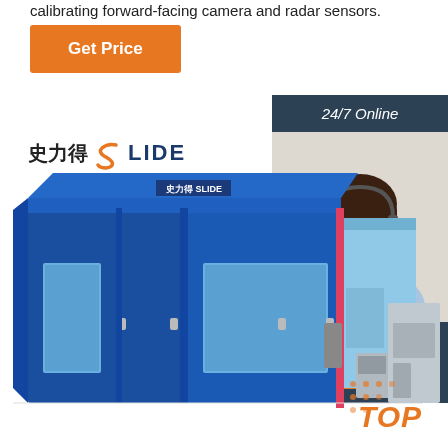calibrating forward-facing camera and radar sensors.
[Figure (other): Orange 'Get Price' button]
[Figure (other): 24/7 Online chat panel with woman wearing headset, 'Click here for free chat!' text and orange QUOTATION button, dark blue-grey background]
[Figure (illustration): SLIDE brand spray paint booth - large blue industrial cabinet with windows and doors, light blue ventilation unit on right side, SLIDE logo on front. Chinese characters and S-LIDE logo visible.]
[Figure (logo): 史力得 SLIDE logo with orange S icon]
TOP